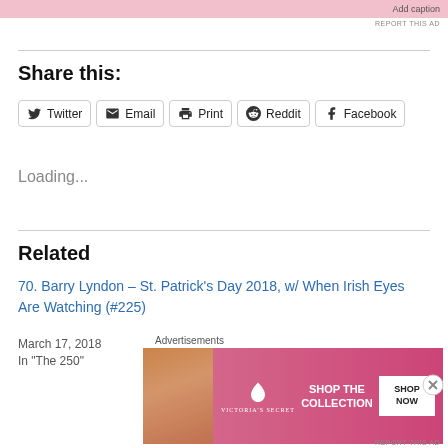[Figure (other): Pink advertisement banner at top with 'Add caption' text]
Share this:
[Figure (other): Share buttons: Twitter, Email, Print, Reddit, Facebook]
Loading...
Related
70. Barry Lyndon – St. Patrick's Day 2018, w/ When Irish Eyes Are Watching (#225)
March 17, 2018
In "The 250"
Advertisements
[Figure (other): Victoria's Secret advertisement banner at bottom: SHOP THE COLLECTION with SHOP NOW button]